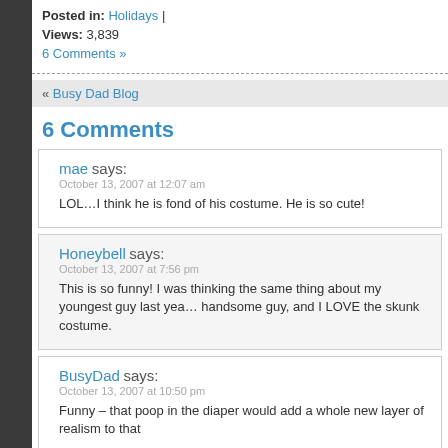Posted in: Holidays |
Views: 3,839
6 Comments »
« Busy Dad Blog
6 Comments
mae says:
October 13, 2007 at 12:07 am
LOL…I think he is fond of his costume. He is so cute!
Honeybell says:
October 13, 2007 at 7:56 pm
This is so funny! I was thinking the same thing about my youngest guy last year… handsome guy, and I LOVE the skunk costume.
BusyDad says:
October 13, 2007 at 10:50 pm
Funny – that poop in the diaper would add a whole new layer of realism to that